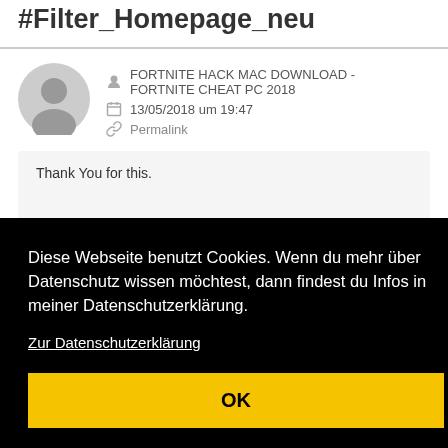#Filter_Homepage_neu
FORTNITE HACK MAC DOWNLOAD - FORTNITE CHEAT PC 2018
13/05/2018 um 19:47
Permalink
Thank You for this.
Diese Webseite benutzt Cookies. Wenn du mehr über Datenschutz wissen möchtest, dann findest du Infos in meiner Datenschutzerklärung.
Zur Datenschutzerklärung
OK